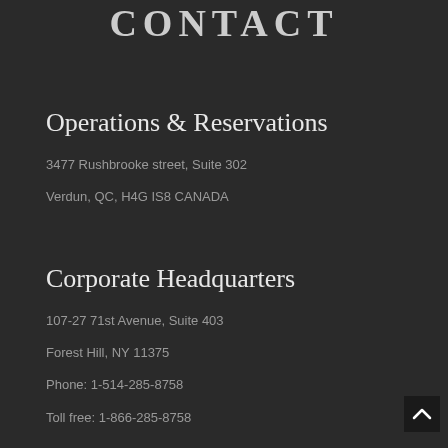CONTACT
Operations & Reservations
3477 Rushbrooke street, Suite 302
Verdun, QC, H4G IS8 CANADA
Corporate Headquarters
107-27 71st Avenue, Suite 403
Forest Hill, NY 11375
Phone: 1-514-285-8758
Toll free: 1-866-285-8758